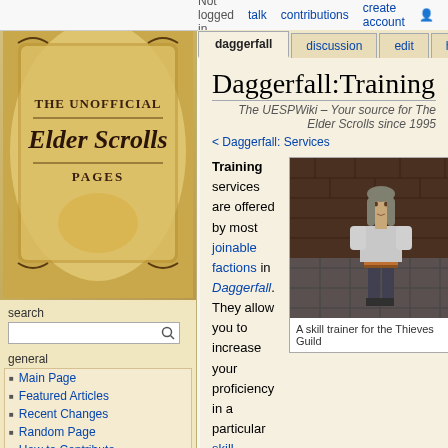Not logged in  talk  contributions  create account  log in
daggerfall  discussion  edit  history
[Figure (logo): The Unofficial Elder Scrolls Pages logo - an ornate book with golden scrollwork on tan parchment background]
search
Main Page
Featured Articles
Recent Changes
Random Page
How to Contribute
Help
View Mobile Version
sections
All Content
Lore
Blades
Legends
Daggerfall:Training
The UESPWiki – Your source for The Elder Scrolls since 1995
< Daggerfall: Services
Training services are offered by most joinable factions in Daggerfall. They allow you to increase your proficiency in a particular skill outside of normal use, up to a maximum
[Figure (screenshot): A skill trainer NPC character from Daggerfall game - a person in grey/white medieval clothing standing on stone floor]
A skill trainer for the Thieves Guild